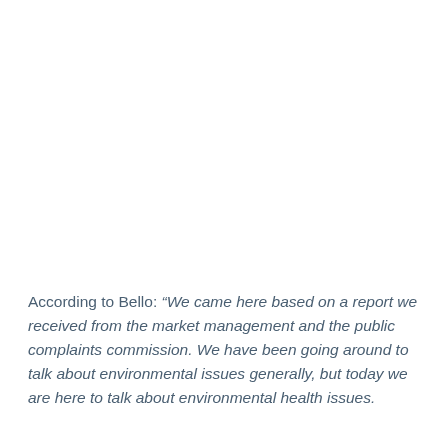According to Bello: “We came here based on a report we received from the market management and the public complaints commission. We have been going around to talk about environmental issues generally, but today we are here to talk about environmental health issues.